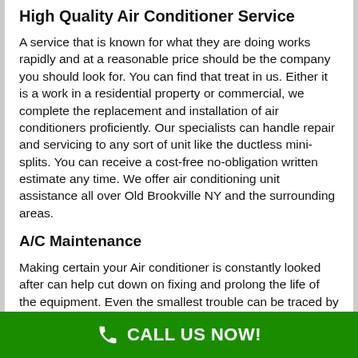High Quality Air Conditioner Service
A service that is known for what they are doing works rapidly and at a reasonable price should be the company you should look for. You can find that treat in us. Either it is a work in a residential property or commercial, we complete the replacement and installation of air conditioners proficiently. Our specialists can handle repair and servicing to any sort of unit like the ductless mini-splits. You can receive a cost-free no-obligation written estimate any time. We offer air conditioning unit assistance all over Old Brookville NY and the surrounding areas.
A/C Maintenance
Making certain your Air conditioner is constantly looked after can help cut down on fixing and prolong the life of the equipment. Even the smallest trouble can be traced by our technicians. Have your AC system looked before the warm summertime
CALL US NOW!